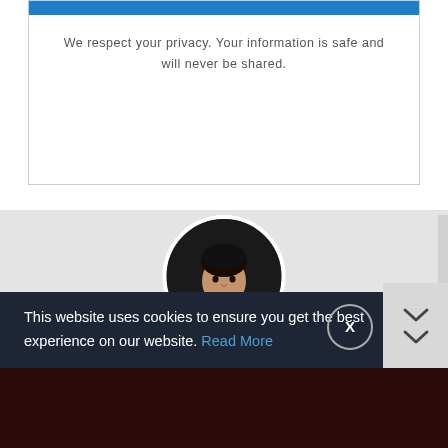We respect your privacy. Your information is safe and will never be shared.
[Figure (photo): Circular profile photo of Nikhil Kuldeep, a young man with dark hair against a dark background]
Nikhil Kuldeep   Technical Writer
Nikhil Kuldeep is a professional Technical Writer who enjoys his writing work on new technologies. He is always up to date with the latest tech news. His ...
This website uses cookies to ensure you get the best experience on our website. Read More